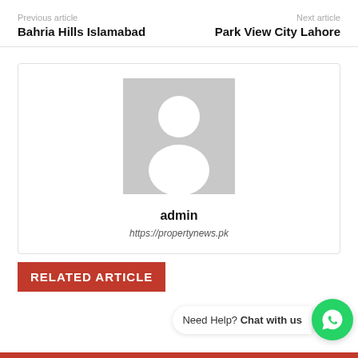Previous article
Bahria Hills Islamabad
Next article
Park View City Lahore
[Figure (illustration): Generic user avatar placeholder showing silhouette of a person on grey background]
admin
https://propertynews.pk
RELATED ARTICLE
Need Help? Chat with us